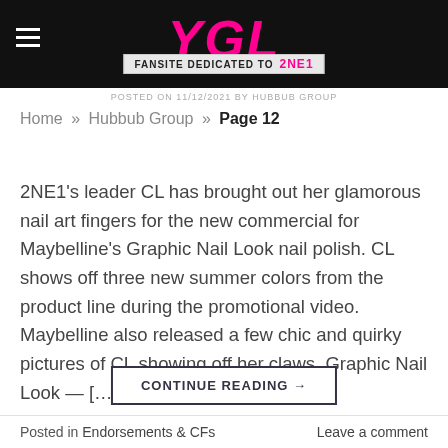YGL — FANSITE DEDICATED TO 2NE1
POSTED ON 11/12/2021 BY HUBBUB GROUP
Home » Hubbub Group » Page 12
2NE1's leader CL has brought out her glamorous nail art fingers for the new commercial for Maybelline's Graphic Nail Look nail polish. CL shows off three new summer colors from the product line during the promotional video. Maybelline also released a few chic and quirky pictures of CL showing off her claws. Graphic Nail Look — […]
CONTINUE READING →
Posted in Endorsements & CFs    Leave a comment